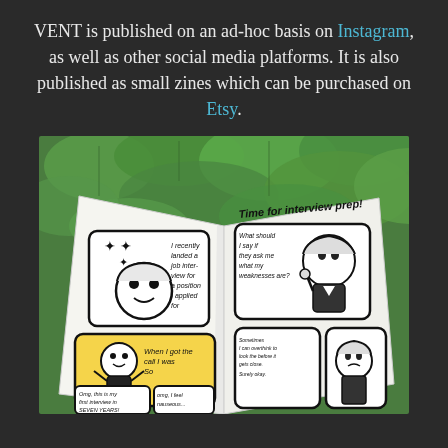VENT is published on an ad-hoc basis on Instagram, as well as other social media platforms. It is also published as small zines which can be purchased on Etsy.
[Figure (photo): A photograph of an open hand-drawn comic zine titled 'VENT' held up against a background of green leaves. The pages show comic panels featuring cartoon characters discussing job interview preparation, with text bubbles reading things like 'I recently landed a job interview for a position I applied for', 'Time for interview prep!', 'When I got the call I was so EXCITED!', 'Omg, this is my first interview in SEVEN YEARS!', 'omg, I feel nauseous...' and 'What should I say if they ask me what my weaknesses are?']